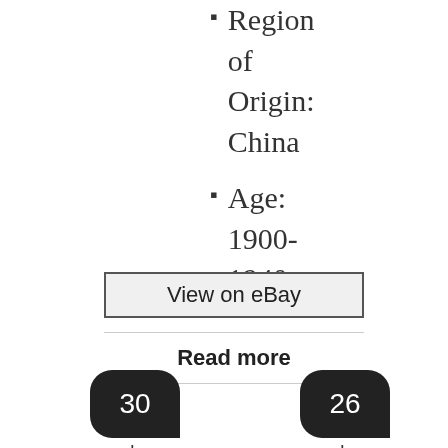Region of Origin: China
Age: 1900-1940
View on eBay
Read more
[Figure (other): Two dark rounded badge icons showing the numbers 30 and 26, partially cut off at bottom, with labels below]